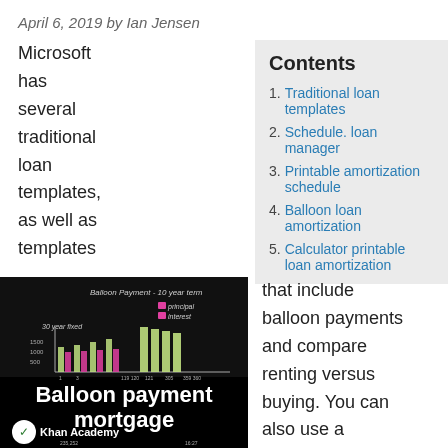April 6, 2019 by Ian Jensen
Microsoft has several traditional loan templates, as well as templates
Contents
1. Traditional loan templates
2. Schedule. loan manager
3. Printable amortization schedule
4. Balloon loan amortization
5. Calculator printable loan amortization
[Figure (screenshot): Khan Academy video thumbnail showing 'Balloon payment mortgage' with a bar chart on a dark background]
that include balloon payments and compare renting versus buying. You can also use a